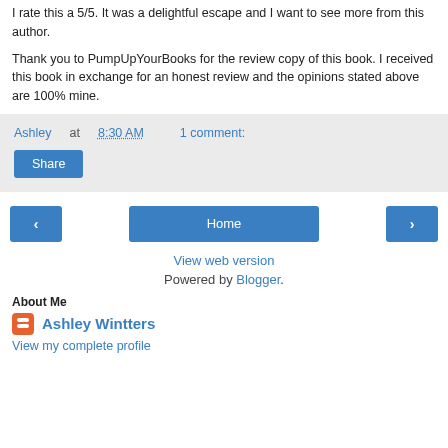I rate this a 5/5.  It was a delightful escape and I want to see more from this author.
Thank you to PumpUpYourBooks for the review copy of this book.  I received this book in exchange for an honest review and the opinions stated above are 100% mine.
Ashley at 8:30 AM    1 comment:
Share
< Home >
View web version
Powered by Blogger.
About Me
Ashley Wintters
View my complete profile